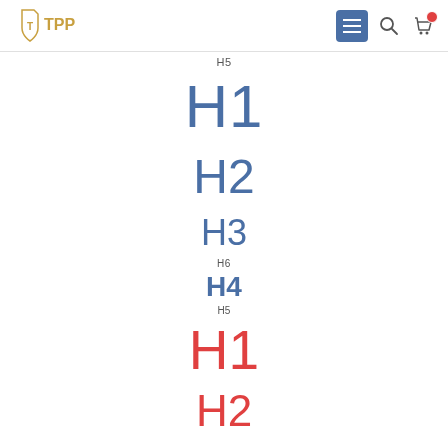[Figure (screenshot): Website navigation bar with TPP logo on the left, hamburger menu button (blue square), search icon, and cart icon with red badge on the right]
H5
H1
H2
H3
H6
H4
H5
H1
H2